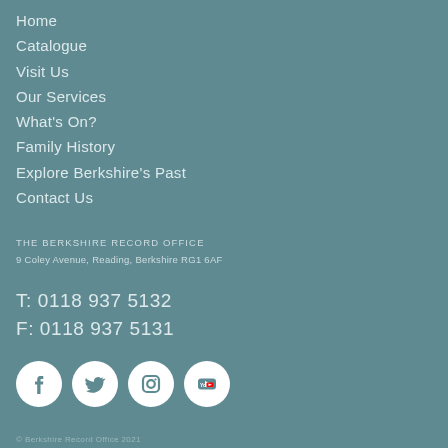Home
Catalogue
Visit Us
Our Services
What's On?
Family History
Explore Berkshire's Past
Contact Us
THE BERKSHIRE RECORD OFFICE
9 Coley Avenue, Reading, Berkshire RG1 6AF
T: 0118 937 5132
F: 0118 937 5131
[Figure (illustration): Social media icons: Facebook, Twitter, Instagram, YouTube — white circles on teal background]